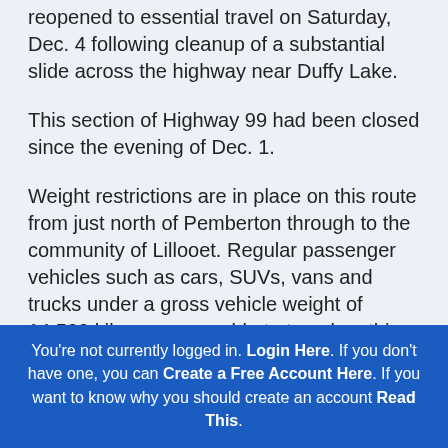reopened to essential travel on Saturday, Dec. 4 following cleanup of a substantial slide across the highway near Duffy Lake.
This section of Highway 99 had been closed since the evening of Dec. 1.
Weight restrictions are in place on this route from just north of Pemberton through to the community of Lillooet. Regular passenger vehicles such as cars, SUVs, vans and trucks under a gross vehicle weight of 14,500 kilograms are able to travel on this corridor
You're not currently logged in. Login Here. If you don't have one, you can Create a Free Account Here. If you want to know why you should create an account Read This.